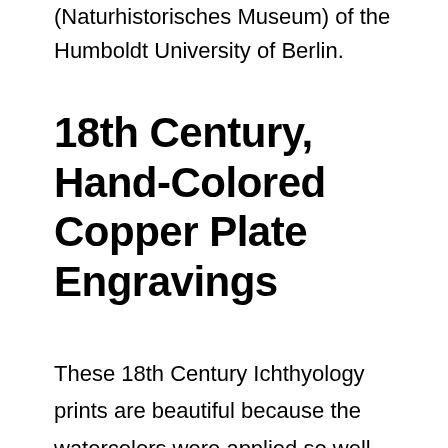(Naturhistorisches Museum) of the Humboldt University of Berlin.
18th Century, Hand-Colored Copper Plate Engravings
These 18th Century Ichthyology prints are beautiful because the watercolors were applied so well. Some are metallic. In the 18th century, watercolors came from minerals, heavy metals, bugs and plants. If